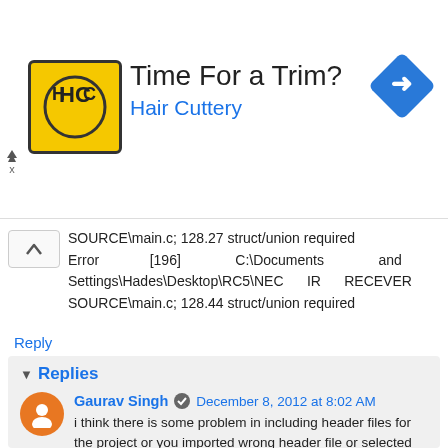[Figure (advertisement): Hair Cuttery ad banner with logo, title 'Time For a Trim?', subtitle 'Hair Cuttery', and a blue navigation/direction icon on the right]
SOURCE\main.c; 128.27 struct/union required
Error [196] C:\Documents and Settings\Hades\Desktop\RC5\NEC IR RECEVER SOURCE\main.c; 128.44 struct/union required
Reply
Replies
Gaurav Singh  December 8, 2012 at 8:02 AM
i think there is some problem in including header files for the project or you imported wrong header file or selected the wrong target device
Reply